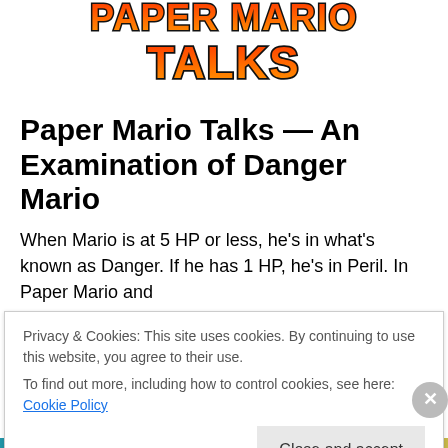[Figure (logo): Paper Mario Talks logo — stylized text with orange/red gradient and black outline on white background]
Paper Mario Talks — An Examination of Danger Mario
When Mario is at 5 HP or less, he's in what's known as Danger. If he has 1 HP, he's in Peril. In Paper Mario and
Privacy & Cookies: This site uses cookies. By continuing to use this website, you agree to their use.
To find out more, including how to control cookies, see here: Cookie Policy
Close and accept